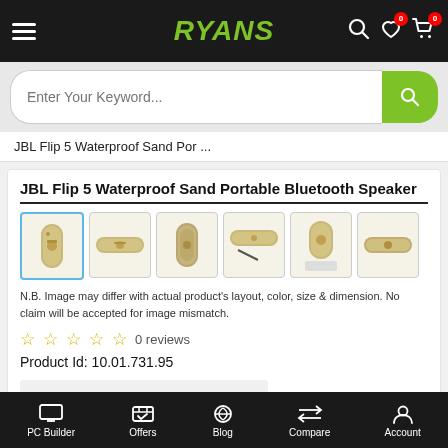RYANS
Enter Your Keyword...
JBL Flip 5 Waterproof Sand Por ...
JBL Flip 5 Waterproof Sand Portable Bluetooth Speaker
[Figure (photo): Six thumbnail images of JBL Flip 5 Sand Portable Bluetooth Speaker from various angles, with the first thumbnail selected/active.]
N.B. Image may differ with actual product's layout, color, size & dimension. No claim will be accepted for image mismatch.
0 reviews
Product Id: 10.01.731.95
Regular Price Tk 0
Special Price Tk 0
PC Builder | Offers | Blog | Compare | Account